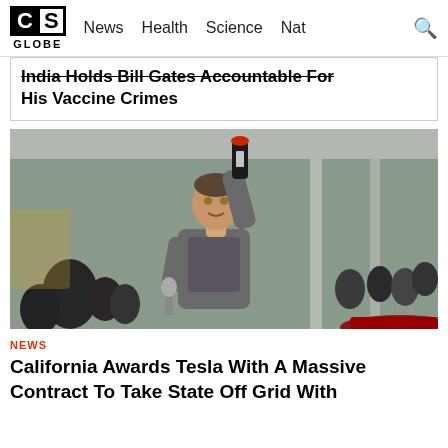CS GLOBE  News  Health  Science  Nat
India Holds Bill Gates Accountable For His Vaccine Crimes
[Figure (photo): Person (Elon Musk) raising a champagne bottle in a factory setting with a crowd in background, holding a microphone]
NEWS
California Awards Tesla With A Massive Contract To Take State Off Grid With